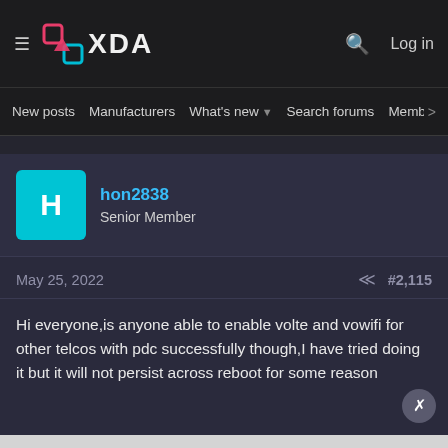XDA Forums header with hamburger menu, XDA logo, search icon, Log in
New posts  Manufacturers  What's new  Search forums  Membe  >
hon2838
Senior Member
May 25, 2022   #2,115
Hi everyone,is anyone able to enable volte and vowifi for other telcos with pdc successfully though,I have tried doing it but it will not persist across reboot for some reason
Senior Member